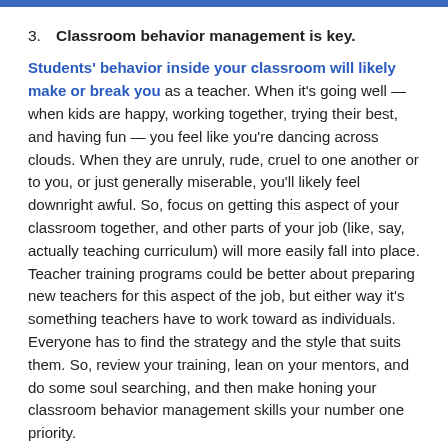3. Classroom behavior management is key.
Students' behavior inside your classroom will likely make or break you as a teacher. When it's going well — when kids are happy, working together, trying their best, and having fun — you feel like you're dancing across clouds. When they are unruly, rude, cruel to one another or to you, or just generally miserable, you'll likely feel downright awful. So, focus on getting this aspect of your classroom together, and other parts of your job (like, say, actually teaching curriculum) will more easily fall into place. Teacher training programs could be better about preparing new teachers for this aspect of the job, but either way it's something teachers have to work toward as individuals. Everyone has to find the strategy and the style that suits them. So, review your training, lean on your mentors, and do some soul searching, and then make honing your classroom behavior management skills your number one priority.